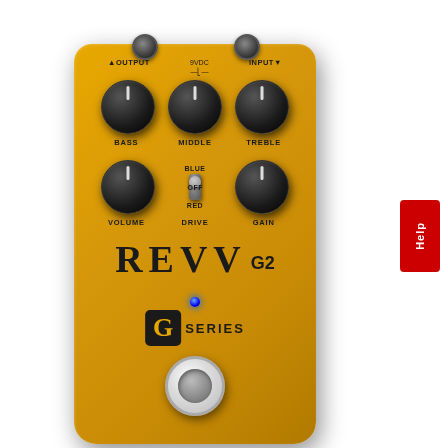[Figure (photo): REVV G2 guitar effects pedal in gold/yellow finish. Top panel shows OUTPUT and INPUT jacks with 9VDC power connection. Six black knobs labeled BASS, MIDDLE, TREBLE (top row) and VOLUME, GAIN (bottom row), plus a three-position toggle switch labeled BLUE, OFF, RED for DRIVE channel. REVV G2 branding in large serif letters, blue LED indicator, G SERIES logo in black box, and a large chrome footswitch at the bottom.]
Help